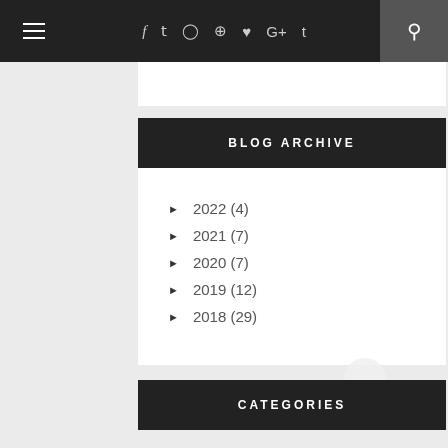≡  f  𝕥  📷  𝗉  ♥  G+  t  🔍
BLOG ARCHIVE
► 2022 (4)
► 2021 (7)
► 2020 (7)
► 2019 (12)
► 2018 (29)
CATEGORIES